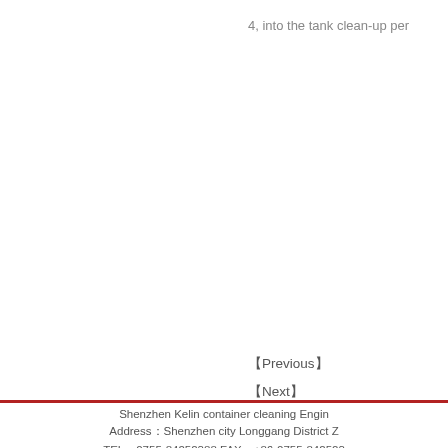4, into the tank clean-up per
【Previous】
【Next】
Shenzhen Kelin container cleaning Engin
Address：Shenzhen city Longgang District Z
TEL：0755-84252388 FAX：+86-0755-842523